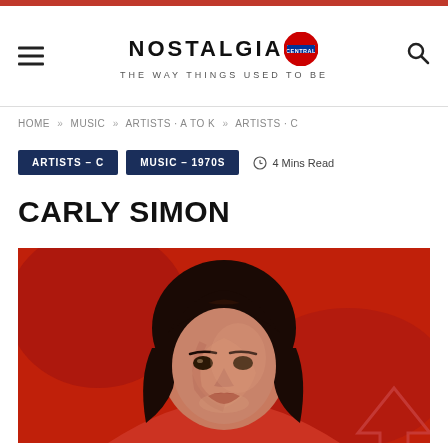Nostalgia Central — THE WAY THINGS USED TO BE
HOME » MUSIC » ARTISTS - A TO K » ARTISTS - C
ARTISTS - C
MUSIC - 1970S
4 Mins Read
CARLY SIMON
[Figure (photo): Carly Simon portrait photo against a red background, woman with dark feathered hair wearing a red top, looking at the camera]